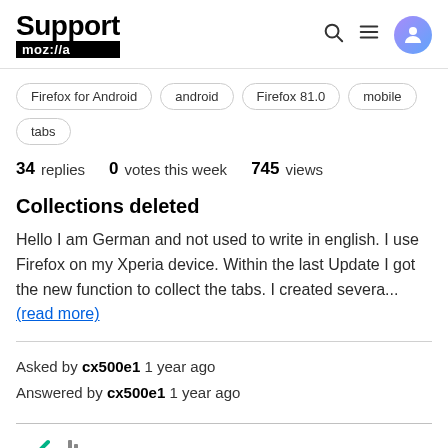Support moz://a
Firefox for Android
android
Firefox 81.0
mobile
tabs
34 replies  0 votes this week  745 views
Collections deleted
Hello I am German and not used to write in english. I use Firefox on my Xperia device. Within the last Update I got the new function to collect the tabs. I created severa... (read more)
Asked by cx500e1 1 year ago
Answered by cx500e1 1 year ago